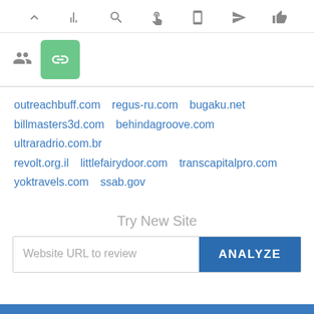[Figure (screenshot): Toolbar with navigation icons: chevron-up, bar-chart, search, cursor, mobile, send/location, thumbs-up]
[Figure (screenshot): Icon row with people/group icon and a green button with chain/link icon]
outreachbuff.com  regus-ru.com  bugaku.net  billmasters3d.com  behindagroove.com  ultraradrio.com.br  revolt.org.il  littlefairydoor.com  transcapitalpro.com  yoktravels.com  ssab.gov
Try New Site
Website URL to review
ANALYZE